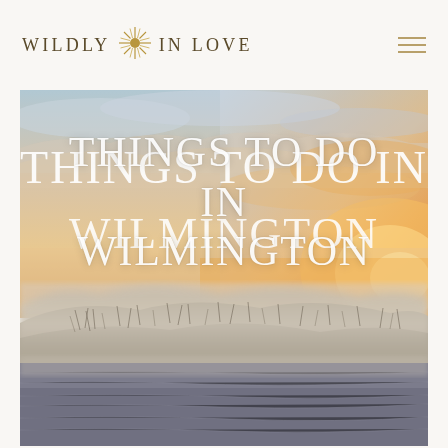WILDLY IN LOVE
[Figure (photo): Sunset beach scene with sand dunes, sea grass, and warm orange-pink sky over the ocean. Mist or fog over the dunes. Text overlay reads THINGS TO DO IN WILMINGTON in white serif uppercase letters.]
THINGS TO DO IN WILMINGTON